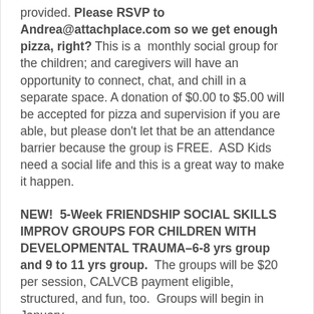provided. Please RSVP to Andrea@attachplace.com so we get enough pizza, right? This is a monthly social group for the children; and caregivers will have an opportunity to connect, chat, and chill in a separate space. A donation of $0.00 to $5.00 will be accepted for pizza and supervision if you are able, but please don't let that be an attendance barrier because the group is FREE.  ASD Kids need a social life and this is a great way to make it happen.
NEW!  5-Week FRIENDSHIP SOCIAL SKILLS IMPROV GROUPS FOR CHILDREN WITH DEVELOPMENTAL TRAUMA–6-8 yrs group and 9 to 11 yrs group.  The groups will be $20 per session, CALVCB payment eligible, structured, and fun, too.  Groups will begin in January